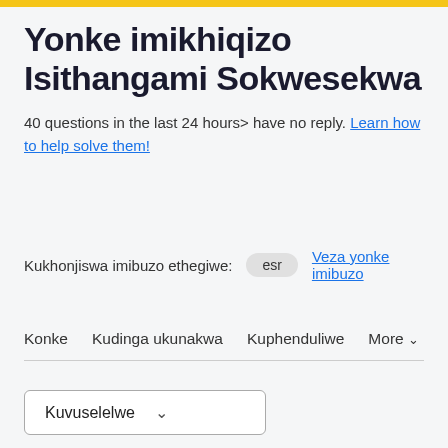Yonke imikhiqizo Isithangami Sokwesekwa
40 questions in the last 24 hours> have no reply. Learn how to help solve them!
Kukhonjiswa imibuzo ethegiwe: esr  Veza yonke imibuzo
Konke
Kudinga ukunakwa
Kuphenduliwe
More
Kuvuselelwe